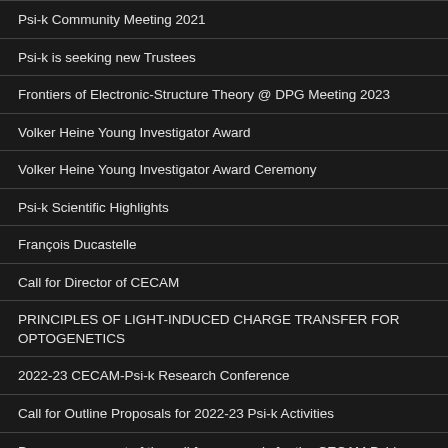Psi-k Community Meeting 2021
Psi-k is seeking new Trustees
Frontiers of Electronic-Structure Theory @ DPG Meeting 2023
Volker Heine Young Investigator Award
Volker Heine Young Investigator Award Ceremony
Psi-k Scientific Highlights
François Ducastelle
Call for Director of CECAM
PRINCIPLES OF LIGHT-INDUCED CHARGE TRANSFER FOR OPTOGENETICS
2022-23 CECAM-Psi-k Research Conference
Call for Outline Proposals for 2022-23 Psi-k Activities
Preannouncement of the call for proposals for the CECAM Psi-k